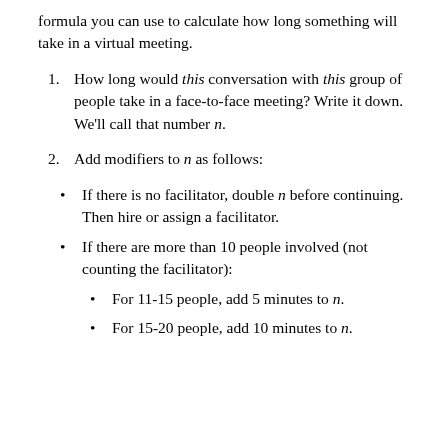formula you can use to calculate how long something will take in a virtual meeting.
How long would this conversation with this group of people take in a face-to-face meeting? Write it down. We'll call that number n.
Add modifiers to n as follows:
If there is no facilitator, double n before continuing. Then hire or assign a facilitator.
If there are more than 10 people involved (not counting the facilitator):
For 11-15 people, add 5 minutes to n.
For 15-20 people, add 10 minutes to n.